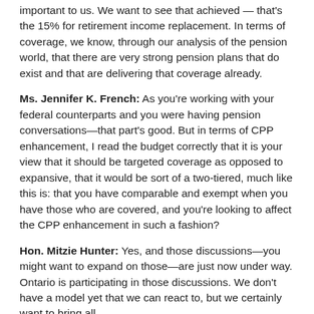important to us. We want to see that achieved — that's the 15% for retirement income replacement. In terms of coverage, we know, through our analysis of the pension world, that there are very strong pension plans that do exist and that are delivering that coverage already.
Ms. Jennifer K. French: As you're working with your federal counterparts and you were having pension conversations—that part's good. But in terms of CPP enhancement, I read the budget correctly that it is your view that it should be targeted coverage as opposed to expansive, that it would be sort of a two-tiered, much like this is: that you have comparable and exempt when you have those who are covered, and you're looking to affect the CPP enhancement in such a fashion?
Hon. Mitzie Hunter: Yes, and those discussions—you might want to expand on those—are just now under way. Ontario is participating in those discussions. We don't have a model yet that we can react to, but we certainly want to bring all